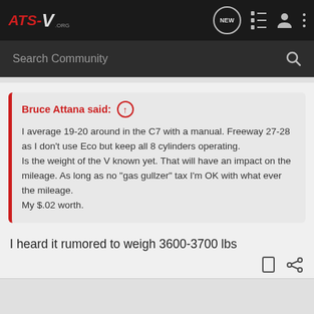ATS-V.org
Search Community
Bruce Attana said: ↑
I average 19-20 around in the C7 with a manual. Freeway 27-28 as I don't use Eco but keep all 8 cylinders operating.
Is the weight of the V known yet. That will have an impact on the mileage. As long as no "gas gullzer" tax I'm OK with what ever the mileage.
My $.02 worth.
I heard it rumored to weigh 3600-3700 lbs